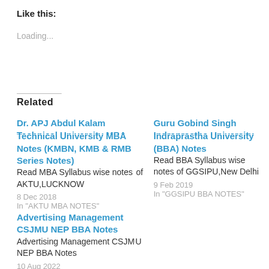Like this:
Loading...
Related
Dr. APJ Abdul Kalam Technical University MBA Notes (KMBN, KMB & RMB Series Notes)
Read MBA Syllabus wise notes of AKTU,LUCKNOW
8 Dec 2018
In "AKTU MBA NOTES"
Guru Gobind Singh Indraprastha University (BBA) Notes
Read BBA Syllabus wise notes of GGSIPU,New Delhi
9 Feb 2019
In "GGSIPU BBA NOTES"
Advertising Management CSJMU NEP BBA Notes
Advertising Management CSJMU NEP BBA Notes
10 Aug 2022
In "CSJMU Kanpur BBA